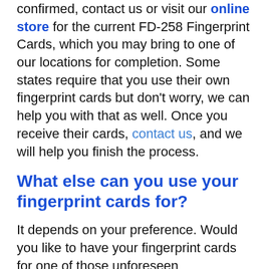confirmed, contact us or visit our online store for the current FD-258 Fingerprint Cards, which you may bring to one of our locations for completion. Some states require that you use their own fingerprint cards but don't worry, we can help you with that as well. Once you receive their cards, contact us, and we will help you finish the process.
What else can you use your fingerprint cards for?
It depends on your preference. Would you like to have your fingerprint cards for one of those unforeseen emergencies or for identification purposes? If so, BioMetric Impressions Corp. is here to help! Many customers prefer to keep a copy of their fingerprints for identification purposes. When you use our service, we have the ability to print your fingerprints on a standard FBI fingerprint card (FD-258 Fingerprint